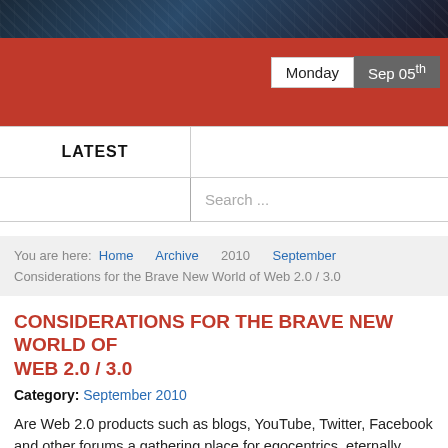[Figure (photo): Dark textured header image with blue-grey tones]
Monday  Sep 05th
LATEST
Search ...
You are here: Home Archive 2010 September Considerations for the Brave New World of Web 2.0 / 3.0
CONSIDERATIONS FOR THE BRAVE NEW WORLD OF WEB 2.0 / 3.0
Category: September 2010
Are Web 2.0 products such as blogs, YouTube, Twitter, Facebook and other forums a gathering place for egocentrics, eternally dissatisfied persons, and know-it-alls - or is it a global stage for opinion leaders, trend-setters, peer groups, or in other words for crucial minorities, that dominate majorities, taking on a pioneer role in society that becomes serious and